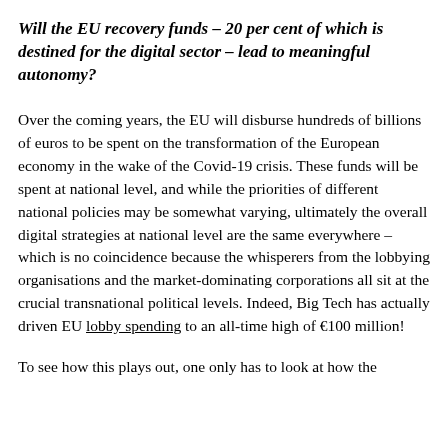Will the EU recovery funds – 20 per cent of which is destined for the digital sector – lead to meaningful autonomy?
Over the coming years, the EU will disburse hundreds of billions of euros to be spent on the transformation of the European economy in the wake of the Covid-19 crisis. These funds will be spent at national level, and while the priorities of different national policies may be somewhat varying, ultimately the overall digital strategies at national level are the same everywhere – which is no coincidence because the whisperers from the lobbying organisations and the market-dominating corporations all sit at the crucial transnational political levels. Indeed, Big Tech has actually driven EU lobby spending to an all-time high of €100 million!
To see how this plays out, one only has to look at how the